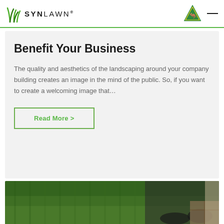SYNLAWN®
Benefit Your Business
The quality and aesthetics of the landscaping around your company building creates an image in the mind of the public. So, if you want to create a welcoming image that…
Read More >
[Figure (photo): Person installing synthetic lawn turf, laying rolls of green artificial grass with hands visible near gravel edge]